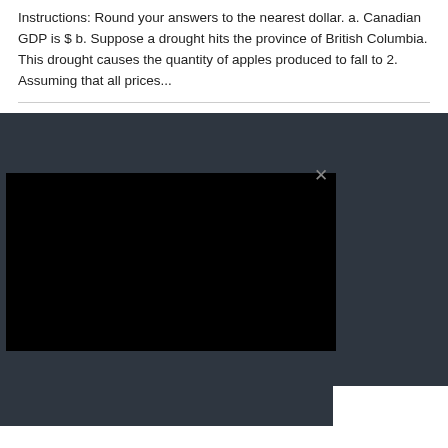Instructions: Round your answers to the nearest dollar. a. Canadian GDP is $ b. Suppose a drought hits the province of British Columbia. This drought causes the quantity of apples produced to fall to 2. Assuming that all prices...
[Figure (screenshot): A dark gray web page background with a black video player overlay in the lower left area, featuring a close (×) button in the upper right of the video overlay. A white panel section is visible in the lower right corner.]